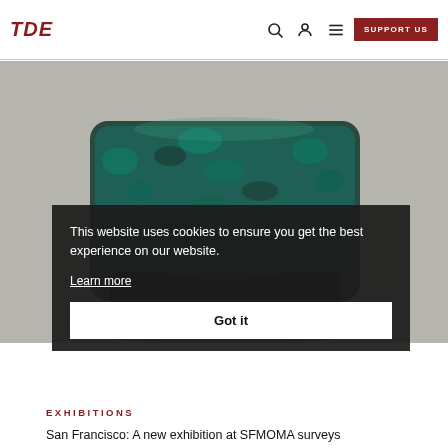TDE — navigation with search, user, menu icons and SUPPORT US button
[Figure (photo): A textured armchair covered in dark teal/green and black chunky yarn or fabric scraps, photographed on a light gray background]
This website uses cookies to ensure you get the best experience on our website.
Learn more
Got it
EXHIBITIONS
San Francisco: A new exhibition at SFMOMA surveys